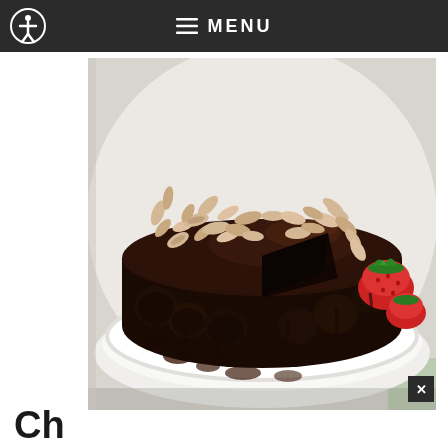≡ MENU
[Figure (photo): A chocolate cake with ganache glaze and sliced almonds on top, with a slice removed, on a white cake stand. A strawberry is visible in the background on the right.]
Ch